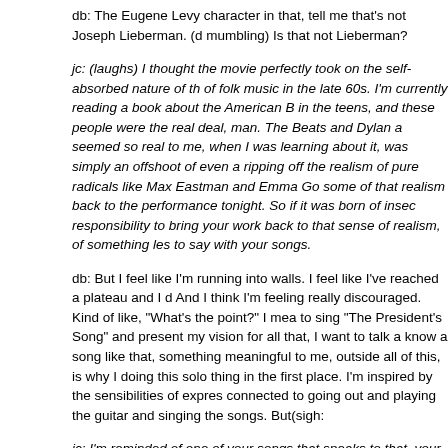db: The Eugene Levy character in that, tell me that's not Joseph Lieberman. (d mumbling) Is that not Lieberman?
jc: (laughs) I thought the movie perfectly took on the self-absorbed nature of th of folk music in the late 60s. I'm currently reading a book about the American B in the teens, and these people were the real deal, man. The Beats and Dylan a seemed so real to me, when I was learning about it, was simply an offshoot of even a ripping off the realism of pure radicals like Max Eastman and Emma Go some of that realism back to the performance tonight. So if it was born of insec responsibility to bring your work back to that sense of realism, of something les to say with your songs.
db: But I feel like I'm running into walls. I feel like I've reached a plateau and I d And I think I'm feeling really discouraged. Kind of like, "What's the point?" I mea to sing "The President's Song" and present my vision for all that, I want to talk a know a song like that, something meaningful to me, outside all of this, is why I doing this solo thing in the first place. I'm inspired by the sensibilities of expres connected to going out and playing the guitar and singing the songs. But​(sigh:
jc: I'm reminded of one of your songs that speaks to that, your first impressions alone with just you and the instrument, something about you once feeling like a all homogenized?
db: (recites) "I used to feel like a Mexican Bandit when I picked up my guitar, a